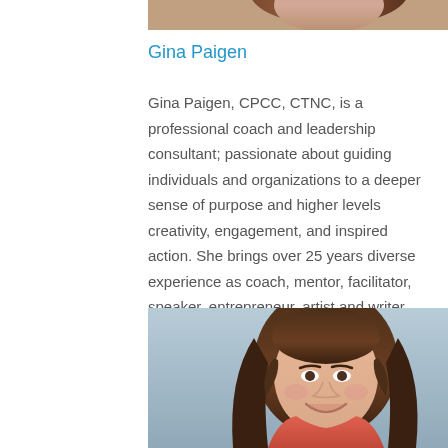[Figure (photo): Partial photo of a person at the top of the page, cropped]
Gina Paigen
Gina Paigen, CPCC, CTNC, is a professional coach and leadership consultant; passionate about guiding individuals and organizations to a deeper sense of purpose and higher levels creativity, engagement, and inspired action. She brings over 25 years diverse experience as coach, mentor, facilitator, speaker, entrepreneur, artist and writer.
[Figure (photo): Portrait photo of a woman with long brown hair, smiling, wearing a coral/red top, with a light blue-grey background]